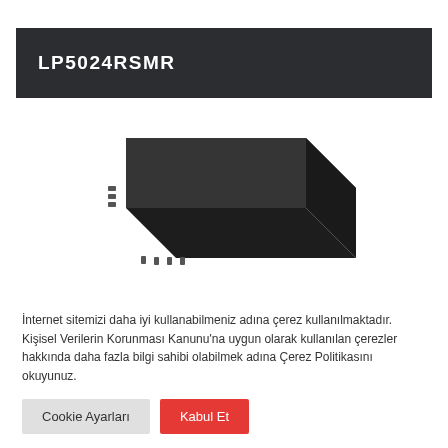LP5024RSMR
[Figure (photo): Dark-colored flat IC chip package (QFN/SMD type) shown in 3D perspective view against white background]
İnternet sitemizi daha iyi kullanabilmeniz adına çerez kullanılmaktadır. Kişisel Verilerin Korunması Kanunu'na uygun olarak kullanılan çerezler hakkında daha fazla bilgi sahibi olabilmek adına Çerez Politikasını okuyunuz.
Cookie Ayarları
Kabul Et